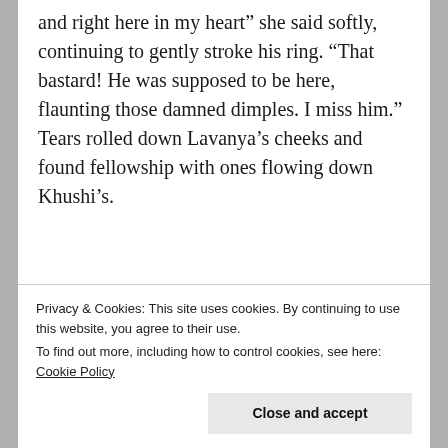and right here in my heart” she said softly, continuing to gently stroke his ring. “That bastard! He was supposed to be here, flaunting those damned dimples. I miss him.” Tears rolled down Lavanya’s cheeks and found fellowship with ones flowing down Khushi’s.
Arms circled each other and Khushi laid her head on Lavanya’s shoulder, breathing in her perfume.
Privacy & Cookies: This site uses cookies. By continuing to use this website, you agree to their use.
To find out more, including how to control cookies, see here: Cookie Policy